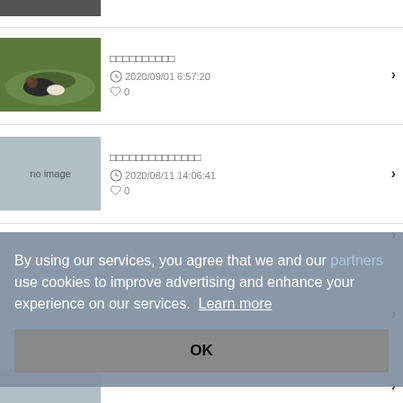[Figure (photo): Partial photo at top of page, cut off, showing outdoor scene]
[Figure (photo): Photo of a goose/duck bird on green grass, dated 2020/09/01]
⬜⬜⬜⬜⬜⬜⬜⬜⬜⬜
2020/09/01 6:57:20
♡ 0
[Figure (other): No image placeholder - light blue/grey box]
⬜⬜⬜⬜⬜⬜⬜⬜⬜⬜⬜⬜⬜⬜
2020/08/11 14:06:41
♡ 0
By using our services, you agree that we and our partners use cookies to improve advertising and enhance your experience on our services.  Learn more
OK